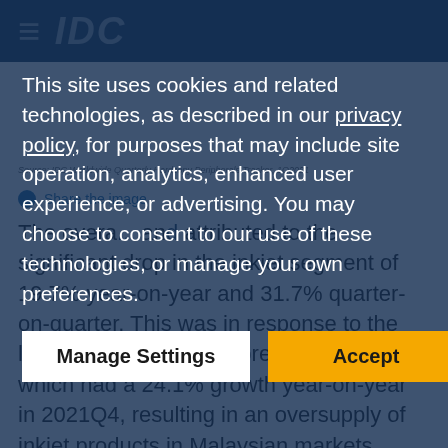IDC
Source: IDC Worldwide Quarterly Hardcopy Peripherals Tracker, 1Q2021
Share the image
The overall... attributed to the significant drop in the inkjet segment of 19.7% year-on-year and 31.7% quarter-on-quarter. This was in response to the large shipments in the previous quarter, which had a 24.1% growth year-on-year in 2021Q4, resulting in an oversupply of inkjet products in Malaysian markets. Additionally, strong market demand during the COVID-19 pandemic has begun to normalize as most offices are operating at full capacity and the work-from-home
This site uses cookies and related technologies, as described in our privacy policy, for purposes that may include site operation, analytics, enhanced user experience, or advertising. You may choose to consent to our use of these technologies, or manage your own preferences.
Manage Settings
Accept